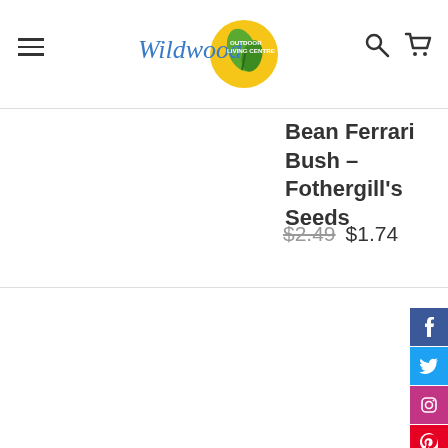[Figure (logo): Wildwood Outdoor Living Centre logo with stylized yellow circle and green plant/leaf graphic]
Bean Ferrari Bush - Fothergill's Seeds
$2.49  $1.74
[Figure (other): Social media sharing buttons sidebar: Facebook (blue), Twitter (light blue), Instagram (pink/purple), Pinterest (red), YouTube (red)]